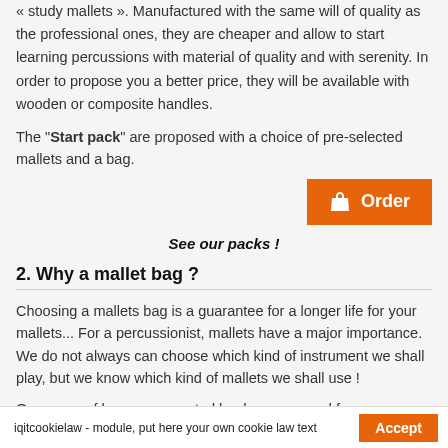« study mallets ». Manufactured with the same will of quality as the professional ones, they are cheaper and allow to start learning percussions with material of quality and with serenity. In order to propose you a better price, they will be available with wooden or composite handles.
The "Start pack" are proposed with a choice of pre-selected mallets and a bag.
[Figure (other): Orange Order button with shopping bag icon]
See our packs !
2. Why a mallet bag ?
Choosing a mallets bag is a guarantee for a longer life for your mallets... For a percussionist, mallets have a major importance. We do not always can choose which kind of instrument we shall play, but we know which kind of mallets we shall use !
Our range of bags was created by drummers and for percussionists.
Manufactured in France with very resistant materials, they offer the best storage of the mallets and some of them include storage compartments for music scores and metronome.
iqitcookielaw - module, put here your own cookie law text